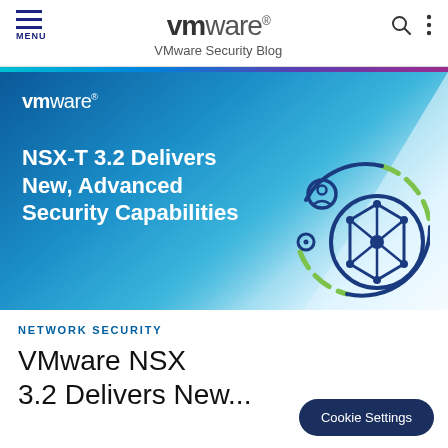VMware Security Blog
[Figure (screenshot): VMware NSX-T 3.2 Delivers New, Advanced Security Capabilities blog hero image with VMware logo, title text, and a network security icon on a blue gradient background]
Network Security
VMware NSX 3.2 Delivers New...
Cookie Settings